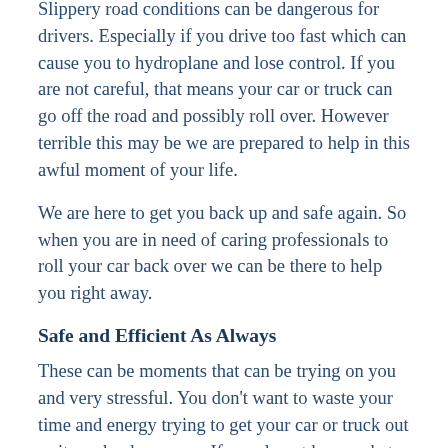Slippery road conditions can be dangerous for drivers. Especially if you drive too fast which can cause you to hydroplane and lose control. If you are not careful, that means your car or truck can go off the road and possibly roll over. However terrible this may be we are prepared to help in this awful moment of your life.
We are here to get you back up and safe again. So when you are in need of caring professionals to roll your car back over we can be there to help you right away.
Safe and Efficient As Always
These can be moments that can be trying on you and very stressful. You don't want to waste your time and energy trying to get your car or truck out as it can be dangerous. If you do not know what you are doing, you can cause harm to yourself or more damage to your vehicle. That is why it is best to call on professionals